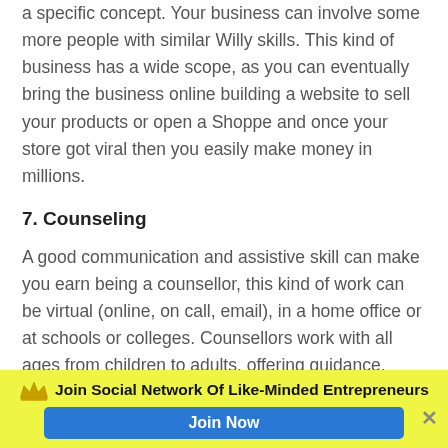a specific concept. Your business can involve some more people with similar Willy skills. This kind of business has a wide scope, as you can eventually bring the business online building a website to sell your products or open a Shoppe and once your store got viral then you easily make money in millions.
7. Counseling
A good communication and assistive skill can make you earn being a counsellor, this kind of work can be virtual (online, on call, email), in a home office or at schools or colleges. Counsellors work with all ages from children to adults, offering guidance, advice and support to the ones having troubles dealing with
Join Social Network Of Like-Minded Entrepreneurs | Join Now